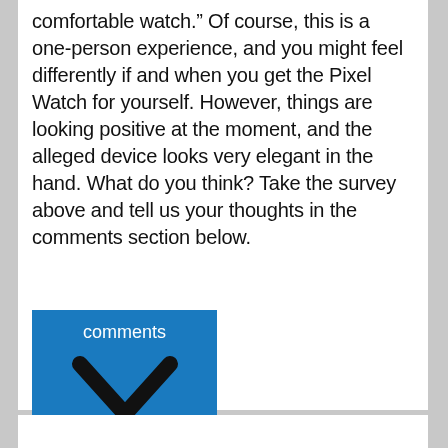comfortable watch.” Of course, this is a one-person experience, and you might feel differently if and when you get the Pixel Watch for yourself. However, things are looking positive at the moment, and the alleged device looks very elegant in the hand. What do you think? Take the survey above and tell us your thoughts in the comments section below.
[Figure (screenshot): Blue button with white text 'comments' and a dark chevron/checkmark icon below it]
[ad_2]